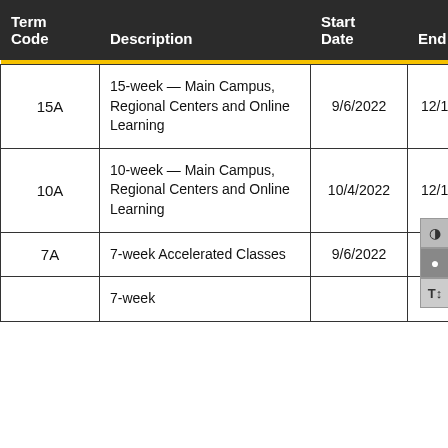| Term Code | Description | Start Date | End Date |
| --- | --- | --- | --- |
| 15A | 15-week — Main Campus, Regional Centers and Online Learning | 9/6/2022 | 12/17/2022 |
| 10A | 10-week — Main Campus, Regional Centers and Online Learning | 10/4/2022 | 12/17/2022 |
| 7A | 7-week Accelerated Classes | 9/6/2022 | 10/18/2022 |
|  | 7-week |  |  |